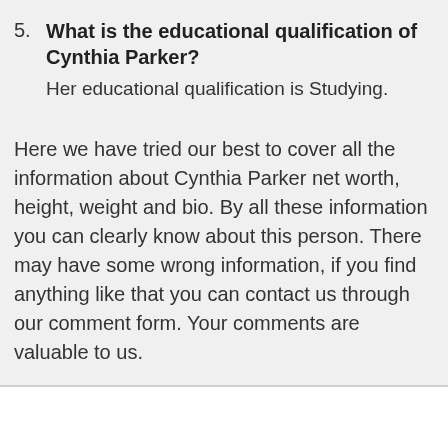5. What is the educational qualification of Cynthia Parker? Her educational qualification is Studying.
Here we have tried our best to cover all the information about Cynthia Parker net worth, height, weight and bio. By all these information you can clearly know about this person. There may have some wrong information, if you find anything like that you can contact us through our comment form. Your comments are valuable to us.